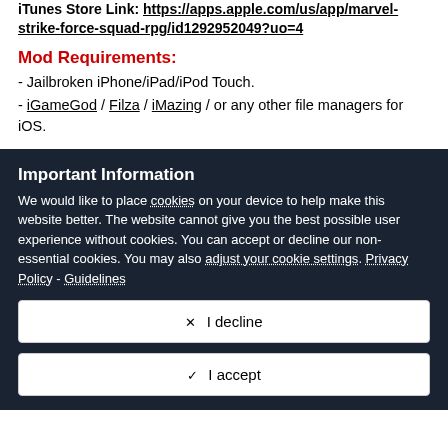iTunes Store Link: https://apps.apple.com/us/app/marvel-strike-force-squad-rpg/id1292952049?uo=4
Mod Requirements:
- Jailbroken iPhone/iPad/iPod Touch.
- iGameGod / Filza / iMazing / or any other file managers for iOS.
Important Information
We would like to place cookies on your device to help make this website better. The website cannot give you the best possible user experience without cookies. You can accept or decline our non-essential cookies. You may also adjust your cookie settings. Privacy Policy - Guidelines
✕  I decline
✓  I accept